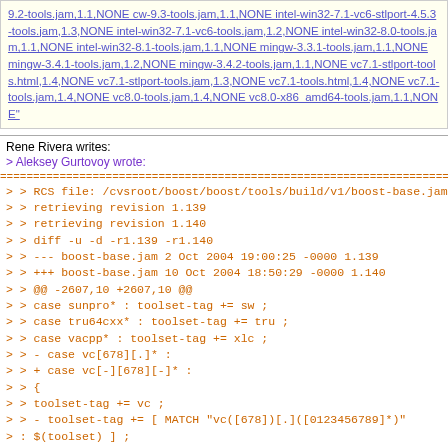9.2-tools.jam,1.1,NONE cw-9.3-tools.jam,1.1,NONE intel-win32-7.1-vc6-stlport-4.5.3-tools.jam,1.3,NONE intel-win32-7.1-vc6-tools.jam,1.2,NONE intel-win32-8.0-tools.jam,1.1,NONE intel-win32-8.1-tools.jam,1.1,NONE mingw-3.3.1-tools.jam,1.1,NONE mingw-3.4.1-tools.jam,1.2,NONE mingw-3.4.2-tools.jam,1.1,NONE vc7.1-stlport-tools.html,1.4,NONE vc7.1-stlport-tools.jam,1.3,NONE vc7.1-tools.html,1.4,NONE vc7.1-tools.jam,1.4,NONE vc8.0-tools.jam,1.4,NONE vc8.0-x86_amd64-tools.jam,1.1,NONE"
Rene Rivera writes:
> Aleksey Gurtovoy wrote:
> > RCS file: /cvsroot/boost/boost/tools/build/v1/boost-base.jam,v
> > retrieving revision 1.139
> > retrieving revision 1.140
> > diff -u -d -r1.139 -r1.140
> > --- boost-base.jam 2 Oct 2004 19:00:25 -0000 1.139
> > +++ boost-base.jam 10 Oct 2004 18:50:29 -0000 1.140
> > @@ -2607,10 +2607,10 @@
> > case sunpro* : toolset-tag += sw ;
> > case tru64cxx* : toolset-tag += tru ;
> > case vacpp* : toolset-tag += xlc ;
> > - case vc[678][.] * :
> > + case vc[-][678][-]* :
> > {
> > toolset-tag += vc ;
> > - toolset-tag += [ MATCH "vc([678])[.]([0123456789]*)"
> : $(toolset) ] ;
> > + toolset-tag += [ MATCH
> "vc[-]([678])[-]([0123456789]*)" : $(toolset) ] ;
>